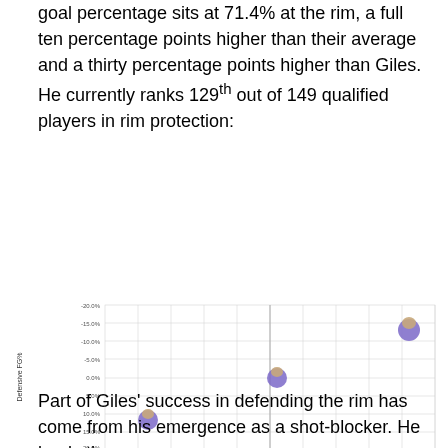goal percentage sits at 71.4% at the rim, a full ten percentage points higher than their average and a thirty percentage points higher than Giles. He currently ranks 129th out of 149 qualified players in rim protection:
[Figure (scatter-plot): Scatter plot showing Defensive FG% vs League Percentile for three players (shown as player headshots). One player is at approximately (13, 13%), one near (52, 0%), and one near (92, -15%).]
Part of Giles' success in defending the rim has come from his emergence as a shot-blocker. He leads the